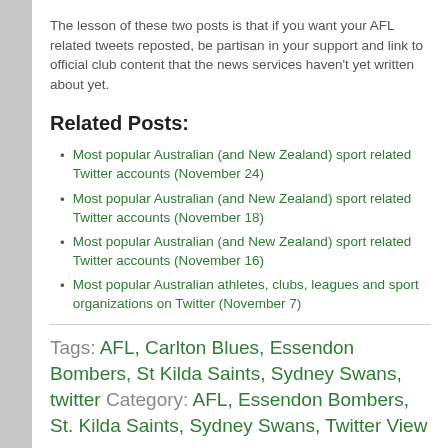The lesson of these two posts is that if you want your AFL related tweets reposted, be partisan in your support and link to official club content that the news services haven't yet written about yet.
Related Posts:
Most popular Australian (and New Zealand) sport related Twitter accounts (November 24)
Most popular Australian (and New Zealand) sport related Twitter accounts (November 18)
Most popular Australian (and New Zealand) sport related Twitter accounts (November 16)
Most popular Australian athletes, clubs, leagues and sport organizations on Twitter (November 7)
Tags: AFL, Carlton Blues, Essendon Bombers, St Kilda Saints, Sydney Swans, twitter Category: AFL, Essendon Bombers, St. Kilda Saints, Sydney Swans, Twitter View Comments